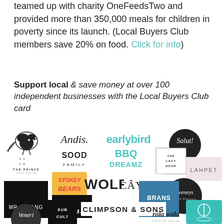great vegan option. The business has teamed up with charity OneFeedsTwo and provided more than 350,000 meals for children in poverty since its launch. (Local Buyers Club members save 20% on food. Click for info)
Support local & save money at over 100 independent businesses with the Local Buyers Club card
[Figure (logo): Grid of local business logos including The Last Crumb, Andis, Earlybird, Salut!, SOOD Family, BBQ Dreamz, The Lacy Hook, The Prince, Stokey Bears, Wolf, Cay Tre, Lahpet, Mr Farang, Rio Cinema, Rudie's, Brans, Deeneys, Veneri, Sub Cult, Climpson & Sons, Rola Wala]